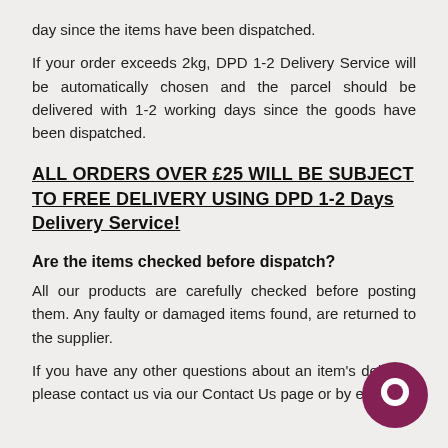day since the items have been dispatched.
If your order exceeds 2kg, DPD 1-2 Delivery Service will be automatically chosen and the parcel should be delivered with 1-2 working days since the goods have been dispatched.
ALL ORDERS OVER £25 WILL BE SUBJECT TO FREE DELIVERY USING DPD 1-2 Days Delivery Service!
Are the items checked before dispatch?
All our products are carefully checked before posting them. Any faulty or damaged items found, are returned to the supplier.
If you have any other questions about an item's delivery, please contact us via our Contact Us page or by email at